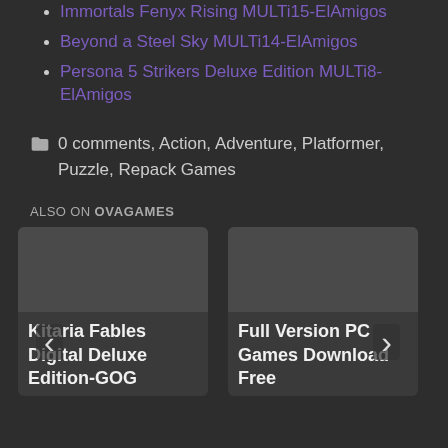Immortals Fenyx Rising MULTi15-ElAmigos
Beyond a Steel Sky MULTi14-ElAmigos
Persona 5 Strikers Deluxe Edition MULTi8-ElAmigos
0 comments, Action, Adventure, Platformer, Puzzle, Repack Games
ALSO ON OVAGAMES
[Figure (screenshot): Card thumbnail for Kitaria Fables Digital Deluxe Edition-GOG]
Kitaria Fables Digital Deluxe Edition-GOG
[Figure (screenshot): Card thumbnail for Full Version PC Games Download Free]
Full Version PC Games Download Free